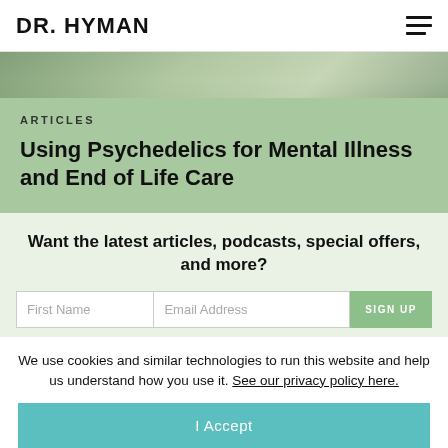DR. HYMAN
[Figure (photo): Outdoor scene, partial view of building or pathway, muted green tones]
ARTICLES
Using Psychedelics for Mental Illness and End of Life Care
Want the latest articles, podcasts, special offers, and more?
First Name | Email Address | SIGN UP
We use cookies and similar technologies to run this website and help us understand how you use it. See our privacy policy here.
I Accept